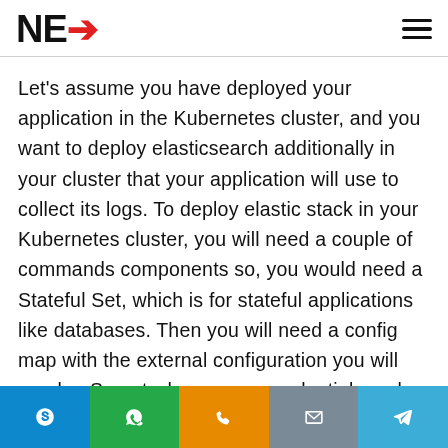NEX
Let's assume you have deployed your application in the Kubernetes cluster, and you want to deploy elasticsearch additionally in your cluster that your application will use to collect its logs. To deploy elastic stack in your Kubernetes cluster, you will need a couple of commands components so, you would need a Stateful Set, which is for stateful applications like databases. Then you will need a config map with the external configuration you will need, a Secret where some credentials and secret data are stored.
Skype | WhatsApp | Phone | Email | Telegram